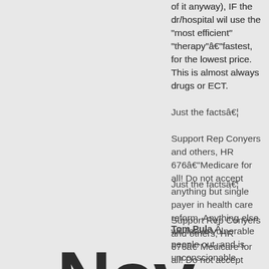of it anyway), IF the dr/hospital wil use the "most efficient" "therapy"â€"fastest, for the lowest price. This is almost always drugs or ECT.
Just the factsâ€¦
Support Rep Conyers and others, HR 676â€"Medicare for all! Do not accept anything but single payer in health care reform. Anything else will leave vulnerable people out, and is unconscionable.
Tom Pula Â­
Nov